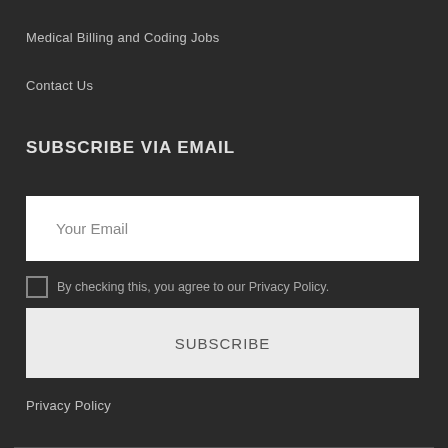Medical Billing and Coding Jobs
Contact Us
SUBSCRIBE VIA EMAIL
Your Email
By checking this, you agree to our Privacy Policy.
SUBSCRIBE
Privacy Policy